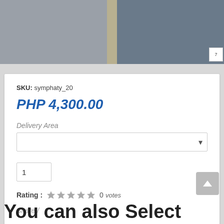[Figure (photo): Product photo strip at top of page showing people/items in background]
SKU: symphaty_20
PHP 4,300.00
Delivery Area
1
Rating : 0 votes
Share /
You can also Select